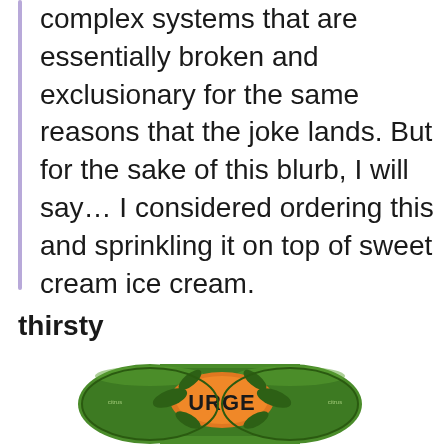complex systems that are essentially broken and exclusionary for the same reasons that the joke lands. But for the sake of this blurb, I will say… I considered ordering this and sprinkling it on top of sweet cream ice cream.
thirsty
[Figure (photo): Photo of a multipack of green URGE soda cans seen from above, showing the tops of the cans with the URGE logo visible in orange and black on the green cans.]